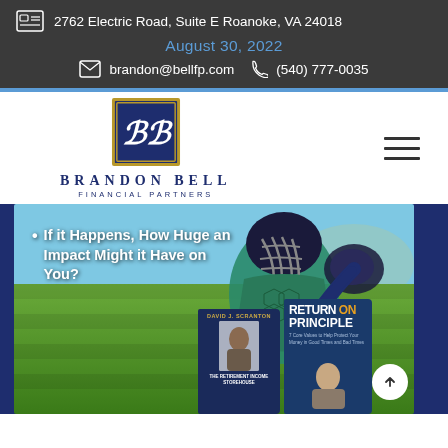2762 Electric Road, Suite E Roanoke, VA 24018 | August 30, 2022 | brandon@bellfp.com | (540) 777-0035
[Figure (logo): Brandon Bell Financial Partners logo — gold-framed navy square with BB monogram script, company name in navy serif uppercase letters]
[Figure (photo): Baseball catcher in green and navy gear crouching on grass field, with overlaid bullet text and book covers for David J. Scranton's 'Return on Principle']
If it Happens, How Huge an Impact Might it Have on You?